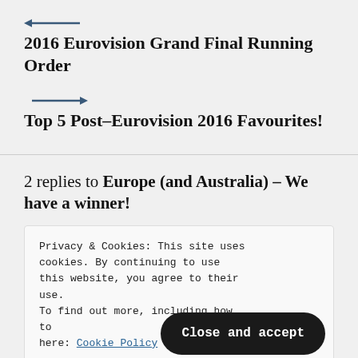[Figure (other): Left-pointing arrow navigation icon]
2016 Eurovision Grand Final Running Order
[Figure (other): Right-pointing arrow navigation icon]
Top 5 Post–Eurovision 2016 Favourites!
2 replies to Europe (and Australia) – We have a winner!
Privacy & Cookies: This site uses cookies. By continuing to use this website, you agree to their use. To find out more, including how to control cookies, see here: Cookie Policy
Pingback: